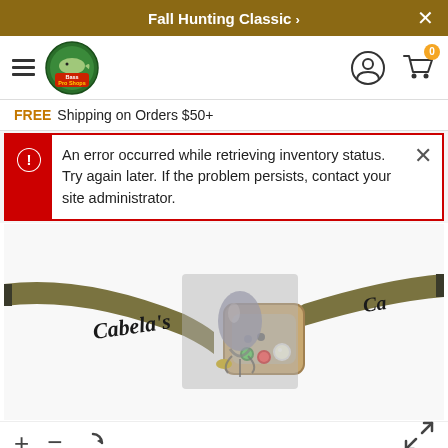Fall Hunting Classic >
[Figure (logo): Bass Pro Shops circular logo with fish illustration and red/yellow text]
FREE Shipping on Orders $50+
An error occurred while retrieving inventory status. Try again later. If the problem persists, contact your site administrator.
[Figure (photo): Cabela's branded headlamp with olive/tan elastic strap, multiple LED lights (white and red), with a semi-transparent fishing lure overlay image in the center]
+ - rotate/reset image controls and expand fullscreen button